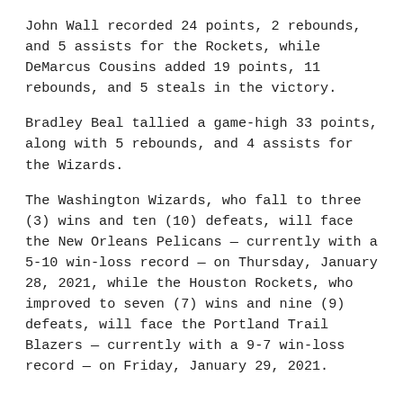John Wall recorded 24 points, 2 rebounds, and 5 assists for the Rockets, while DeMarcus Cousins added 19 points, 11 rebounds, and 5 steals in the victory.
Bradley Beal tallied a game-high 33 points, along with 5 rebounds, and 4 assists for the Wizards.
The Washington Wizards, who fall to three (3) wins and ten (10) defeats, will face the New Orleans Pelicans — currently with a 5-10 win-loss record — on Thursday, January 28, 2021, while the Houston Rockets, who improved to seven (7) wins and nine (9) defeats, will face the Portland Trail Blazers — currently with a 9-7 win-loss record — on Friday, January 29, 2021.